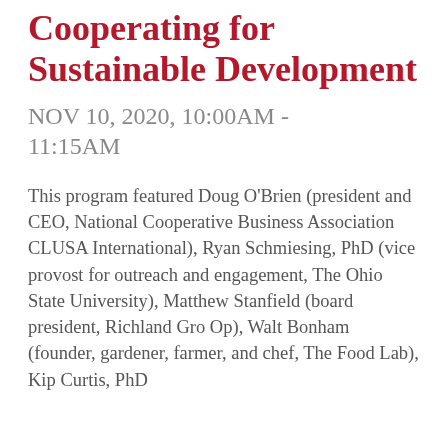Cooperating for Sustainable Development
NOV 10, 2020, 10:00AM - 11:15AM
This program featured Doug O'Brien (president and CEO, National Cooperative Business Association CLUSA International), Ryan Schmiesing, PhD (vice provost for outreach and engagement, The Ohio State University), Matthew Stanfield (board president, Richland Gro Op), Walt Bonham (founder, gardener, farmer, and chef, The Food Lab), Kip Curtis, PhD